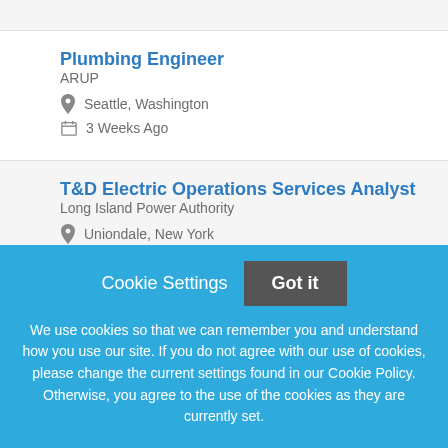Plumbing Engineer
ARUP
Seattle, Washington
3 Weeks Ago
T&D Electric Operations Services Analyst
Long Island Power Authority
Uniondale, New York
Cookie Settings
Got it
We use cookies so that we can remember you and understand how you use our site. If you do not agree with our use of cookies, please change the current settings found in our Cookie Policy. Otherwise, you agree to the use of the cookies as they are currently set.